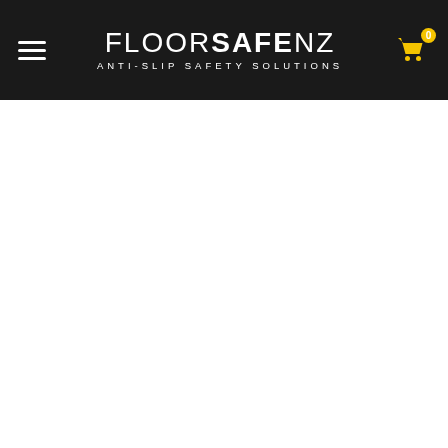FLOOR SAFE NZ — ANTI-SLIP SAFETY SOLUTIONS
[Figure (logo): FloorSafe NZ logo with hamburger menu icon on left and shopping cart with badge '0' on right, on dark background]